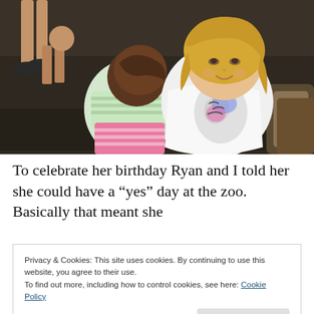[Figure (photo): Two young girls at what appears to be a zoo or indoor venue. One girl with blonde hair wearing a zebra-print shirt faces the camera; another girl with brown hair in a striped outfit leans forward with her back to the camera. Adults' legs are visible in the background on a dark floor.]
To celebrate her birthday Ryan and I told her she could have a “yes” day at the zoo. Basically that meant she
Privacy & Cookies: This site uses cookies. By continuing to use this website, you agree to their use.
To find out more, including how to control cookies, see here: Cookie Policy
Close and accept